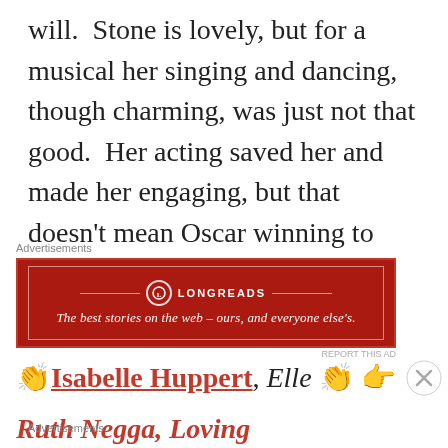will.  Stone is lovely, but for a musical her singing and dancing, though charming, was just not that good.  Her acting saved her and made her engaging, but that doesn't mean Oscar winning to me.
Advertisements
[Figure (other): Longreads advertisement banner: red background, logo with circle, 'LONGREADS', tagline 'The best stories on the web – ours, and everyone else's.']
REPORT THIS AD
👏Isabelle Huppert, Elle 👏👉
Ruth Negga, Loving
Advertisements